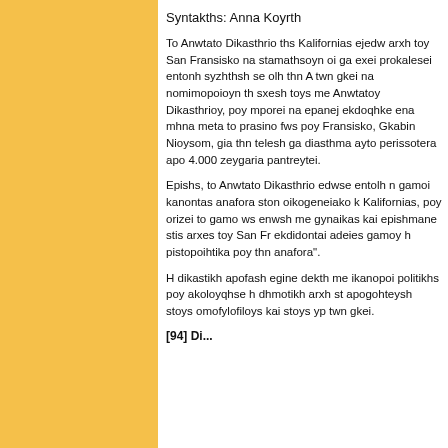Syntakths: Anna Koyrth
To Anwtato Dikasthrio ths Kalifornias ejedw arxh toy San Fransisko na stamathsoyn oi ga exei prokalesei entonh syzhthsh se olh thn A twn gkei na nomimopoioyn th sxesh toys me Anwtatoy Dikasthrioy, poy mporei na epanej ekdoqhke ena mhna meta to prasino fws poy Fransisko, Gkabin Nioysom, gia thn telesh ga diasthma ayto perissotera apo 4.000 zeygaria pantreytei.
Epishs, to Anwtato Dikasthrio edwse entolh n gamoi kanontas anafora ston oikogeneiako k Kalifornias, poy orizei to gamo ws enwsh me gynaikas kai epishmane stis arxes toy San Fr ekdidontai adeies gamoy h pistopoihtika poy thn anafora".
H dikastikh apofash egine dekth me ikanopoi politikhs poy akoloyqhse h dhmotikh arxh st apogohteysh stoys omofylofiloys kai stoys yp twn gkei.
[94] Di...